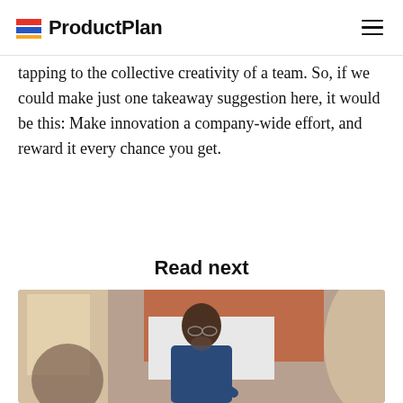ProductPlan
tapping to the collective creativity of a team. So, if we could make just one takeaway suggestion here, it would be this: Make innovation a company-wide effort, and reward it every chance you get.
Read next
[Figure (photo): A bald man with glasses and a beard in a blue shirt speaking and gesturing at what appears to be a team meeting, with a whiteboard and brick wall in the background.]